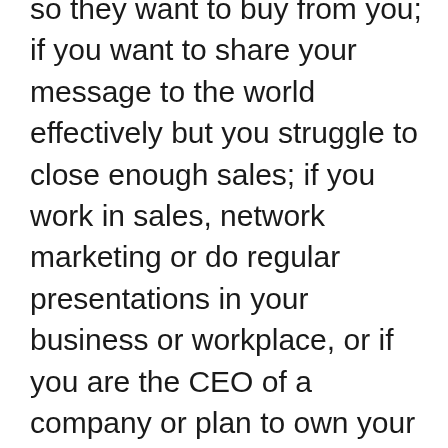so they want to buy from you; if you want to share your message to the world effectively but you struggle to close enough sales; if you work in sales, network marketing or do regular presentations in your business or workplace, or if you are the CEO of a company or plan to own your own business; this is also suitable for you if you want to differentiate yourself from the rest. If you have some knowledge you can share, you can become a speaker and a leader in your